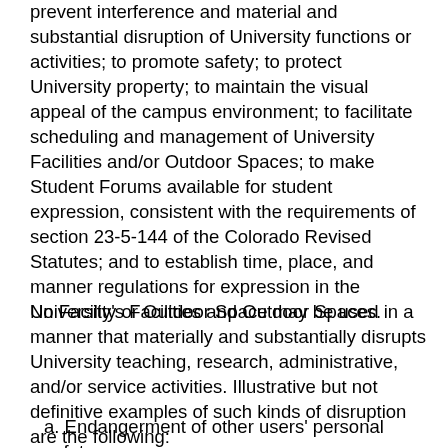prevent interference and material and substantial disruption of University functions or activities; to promote safety; to protect University property; to maintain the visual appeal of the campus environment; to facilitate scheduling and management of University Facilities and/or Outdoor Spaces; to make Student Forums available for student expression, consistent with the requirements of section 23-5-144 of the Colorado Revised Statutes; and to establish time, place, and manner regulations for expression in the University's Facilities and Outdoor Spaces.
No Facility or Outdoor Space may be used in a manner that materially and substantially disrupts University teaching, research, administrative, and/or service activities. Illustrative but not definitive examples of such kinds of disruption are the following:
a. Endangerment of other users' personal safety.